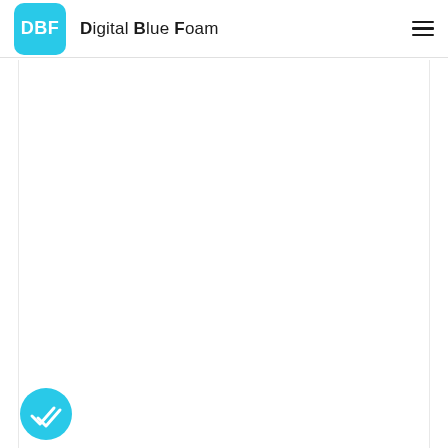DBF Digital Blue Foam
[Figure (screenshot): White content area with empty space below the navigation header]
[Figure (logo): Cyan circular FAB button with a double checkmark icon in the bottom left corner]